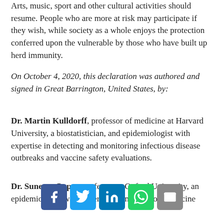Arts, music, sport and other cultural activities should resume. People who are more at risk may participate if they wish, while society as a whole enjoys the protection conferred upon the vulnerable by those who have built up herd immunity.
On October 4, 2020, this declaration was authored and signed in Great Barrington, United States, by:
Dr. Martin Kulldorff, professor of medicine at Harvard University, a biostatistician, and epidemiologist with expertise in detecting and monitoring infectious disease outbreaks and vaccine safety evaluations.
Dr. Sunetra Gupta, professor at Oxford University, an epidemiologist with expertise in immunology, vaccine